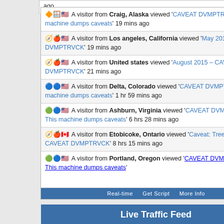🦊🪟🇺🇸 A visitor from Craig, Alaska viewed 'CAVEAT DVMPTRVCK – This machine dumps caveats' 19 mins ago
🧭🍎🇺🇸 A visitor from Los angeles, California viewed 'May 2010 – CAVEAT DVMPTRVCK' 19 mins ago
🧭🍎🇺🇸 A visitor from United states viewed 'August 2015 – CAVEAT DVMPTRVCK' 21 mins ago
🔵🔵🇺🇸 A visitor from Delta, Colorado viewed 'CAVEAT DVMPTRVCK – This machine dumps caveats' 1 hr 59 mins ago
🟢🔵🇺🇸 A visitor from Ashburn, Virginia viewed 'CAVEAT DVMPTRVCK – This machine dumps caveats' 6 hrs 28 mins ago
🧭🍎🇨🇦 A visitor from Etobicoke, Ontario viewed 'Caveat: Tree #1165 – CAVEAT DVMPTRVCK' 8 hrs 15 mins ago
🟢🔵🇺🇸 A visitor from Portland, Oregon viewed 'CAVEAT DVMPTRVCK – This machine dumps caveats'
Real-time   Get Script   More Info
Live Traffic Feed